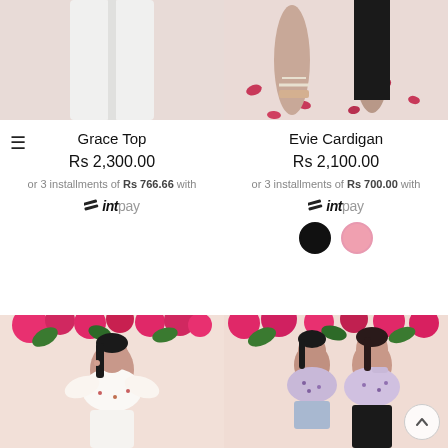[Figure (photo): Top half of model wearing white pants and white top against light pink background]
[Figure (photo): Feet and lower legs of models wearing sandals against light pink background with rose petals]
Grace Top
Rs 2,300.00
or 3 installments of Rs 766.66 with
[Figure (logo): mintpay logo]
Evie Cardigan
Rs 2,100.00
or 3 installments of Rs 700.00 with
[Figure (logo): mintpay logo]
[Figure (photo): Color swatches: black and pink]
[Figure (photo): Model wearing white floral crop top with ruffled sleeves in front of pink bougainvillea flowers]
[Figure (photo): Two models wearing purple floral crop tops in front of pink bougainvillea flowers]